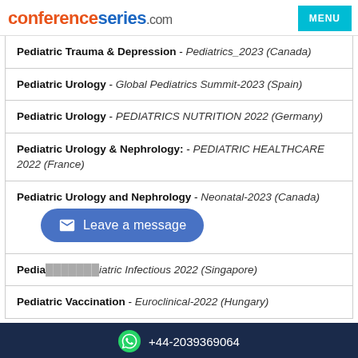conferenceseries.com | MENU
Pediatric Trauma & Depression - Pediatrics_2023 (Canada)
Pediatric Urology - Global Pediatrics Summit-2023 (Spain)
Pediatric Urology - PEDIATRICS NUTRITION 2022 (Germany)
Pediatric Urology & Nephrology: - PEDIATRIC HEALTHCARE 2022 (France)
Pediatric Urology and Nephrology - Neonatal-2023 (Canada)
Pediatric [Vaccination related] - Pediatric Infectious 2022 (Singapore)
Pediatric Vaccination - Euroclinical-2022 (Hungary)
+44-2039369064